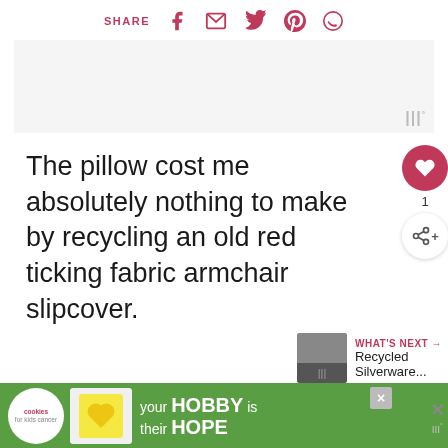SHARE
[Figure (screenshot): Advertisement placeholder box with Wibiya/widget logo in bottom right]
The pillow cost me absolutely nothing to make by recycling an old red ticking fabric armchair slipcover.
I've been on a mission to use every stitch of the sli...
[Figure (screenshot): Bottom advertisement banner: cookies for kids cancer - your HOBBY is their HOPE with close button and share widget logo]